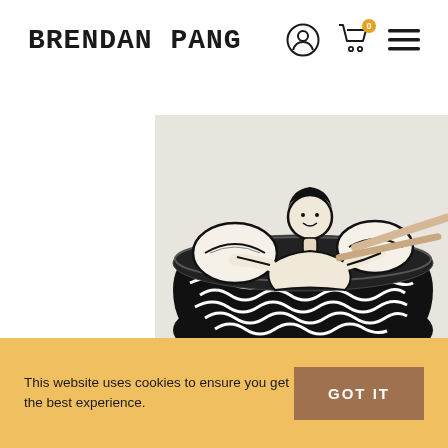BRENDAN PANG
[Figure (logo): User icon, shopping cart icon with badge '0', and hamburger menu icon]
[Figure (illustration): Black and white illustration of a man sitting in a large bowl of noodles, holding dumplings, with chopsticks resting across the bowl. The illustration is on a light beige/gray background.]
This website uses cookies to ensure you get the best experience.
GOT IT